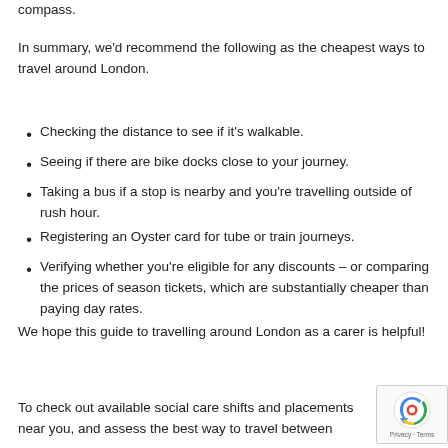compass.
In summary, we'd recommend the following as the cheapest ways to travel around London.
Checking the distance to see if it's walkable.
Seeing if there are bike docks close to your journey.
Taking a bus if a stop is nearby and you're travelling outside of rush hour.
Registering an Oyster card for tube or train journeys.
Verifying whether you're eligible for any discounts – or comparing the prices of season tickets, which are substantially cheaper than paying day rates.
We hope this guide to travelling around London as a carer is helpful!
To check out available social care shifts and placements near you, and assess the best way to travel between